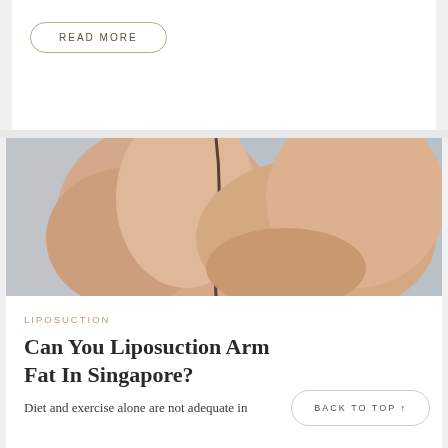READ MORE
[Figure (photo): Close-up photo of a person's arm against a light grey background, showing the upper arm area, relevant to a liposuction article]
LIPOSUCTION
Can You Liposuction Arm Fat In Singapore?
Diet and exercise alone are not adequate in
BACK TO TOP ↑